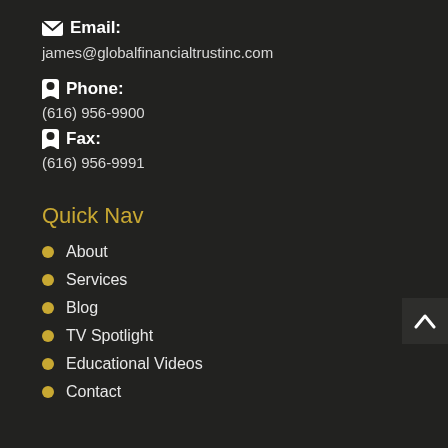Email:
james@globalfinancialtrustinc.com
Phone:
(616) 956-9900
Fax:
(616) 956-9991
Quick Nav
About
Services
Blog
TV Spotlight
Educational Videos
Contact